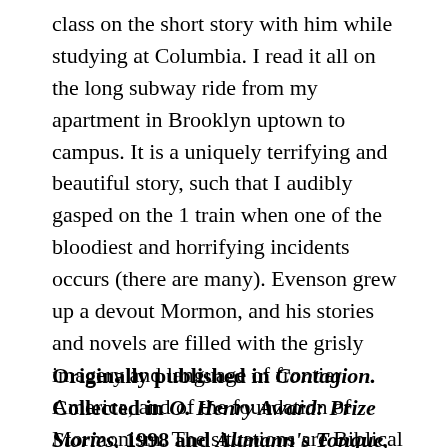class on the short story with him while studying at Columbia. I read it all on the long subway ride from my apartment in Brooklyn uptown to campus. It is a uniquely terrifying and beautiful story, such that I audibly gasped on the 1 train when one of the bloodiest and horrifying incidents occurs (there are many). Evenson grew up a devout Mormon, and his stories and novels are filled with the grisly imagery and language of frontier America, and of the foundation of Mormonism. The situations are Biblical – there is blood sacrifice, patricide, incest – combined with the surreal sense that the house the two brothers inhabit will not let them out. Evenson's books can be hard to find, but I urge you to please seek out his work.
Originally published in Contagion. Collected in O. Henry Award: Prize Stories, 1998 and Altmann's Tongue, 2002, University of Nebraska Press.